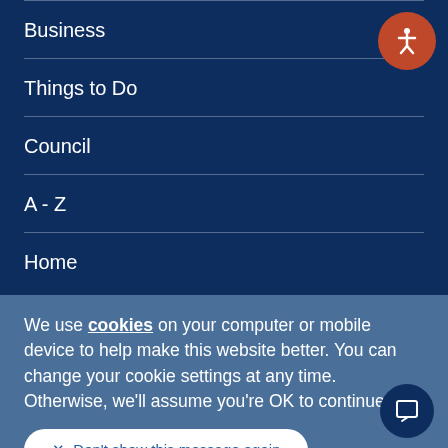Business
Things to Do
Council
A - Z
Home
We use cookies on your computer or mobile device to help make this website better. You can change your cookie settings at any time. Otherwise, we'll assume you're OK to continue.
× Don't show this message again